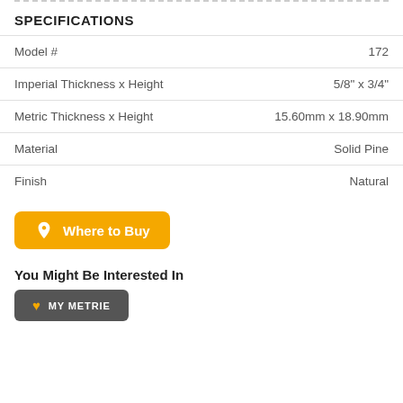SPECIFICATIONS
|  |  |
| --- | --- |
| Model # | 172 |
| Imperial Thickness x Height | 5/8" x 3/4" |
| Metric Thickness x Height | 15.60mm x 18.90mm |
| Material | Solid Pine |
| Finish | Natural |
Where to Buy
You Might Be Interested In
MY METRIE